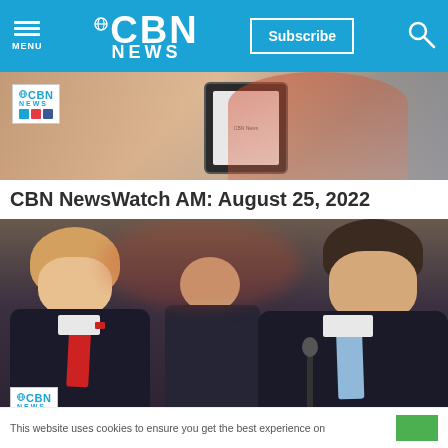CBN NEWS — MENU | Subscribe | Search
[Figure (screenshot): Thumbnail image showing a hand holding a tablet device with CBN News branding overlay in top-left corner]
CBN NewsWatch AM: August 25, 2022
[Figure (photo): Photo of two political figures (Trump on left, DeSantis on right) at a public event, with CBN News badge overlay in bottom-left corner]
This website uses cookies to ensure you get the best experience on